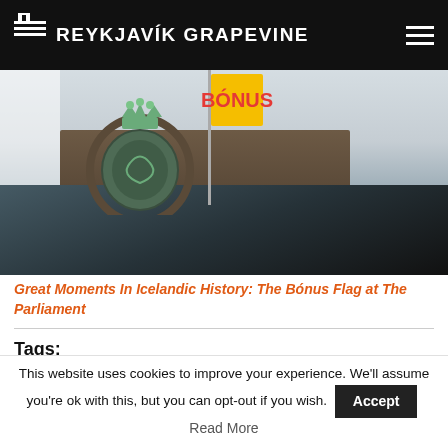THE REYKJAVÍK GRAPEVINE
[Figure (photo): Photo of a parliament building ornament with a crown and crest, a yellow Bónus flag on a flagpole, and a dark roof structure against a grey sky.]
Great Moments In Icelandic History: The Bónus Flag at The Parliament
Tags:
Brussels
craziness
exhibitions
Klink and Bank
young artists
This website uses cookies to improve your experience. We'll assume you're ok with this, but you can opt-out if you wish.